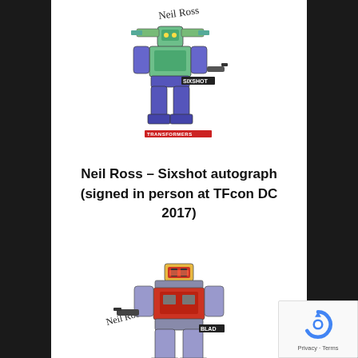[Figure (illustration): Colored illustration of Sixshot Transformer robot character with signature 'Neil Ross' at top and 'TRANSFORMERS' logo text at bottom. Character label 'SIXSHOT' visible.]
Neil Ross – Sixshot autograph (signed in person at TFcon DC 2017)
[Figure (illustration): Colored illustration of another Transformer robot character (Blad) with signature 'Neil Ross' at left side and 'TRANSFORMERS' logo text at bottom. Character label 'BLAD' visible.]